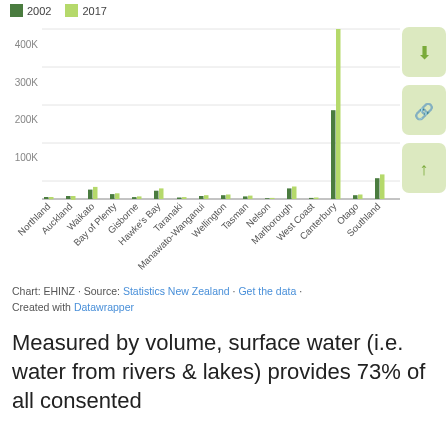[Figure (grouped-bar-chart): ]
Chart: EHINZ · Source: Statistics New Zealand · Get the data · Created with Datawrapper
Measured by volume, surface water (i.e. water from rivers & lakes) provides 73% of all consented